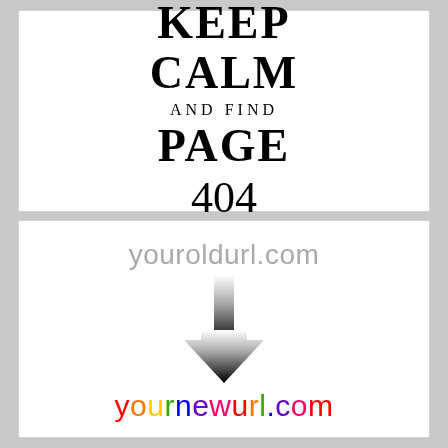[Figure (infographic): Keep Calm and Find Page 404 text in serif font on white panel]
[Figure (infographic): youroldurl.com with a gradient downward arrow pointing to yournewurl.com in multicolor rainbow text on white panel]